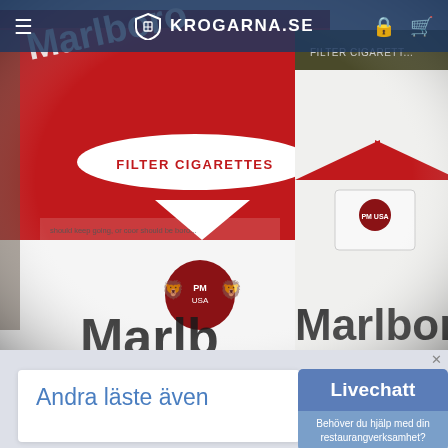KROGARNA.SE
[Figure (photo): Close-up photo of Marlboro cigarette packs (red and green/white), showing 'FILTER CIGARETTES' text and the Marlboro logo with PM USA crest.]
Livechatt
Behöver du hjälp med din restaurangverksamhet?
Andra läste även